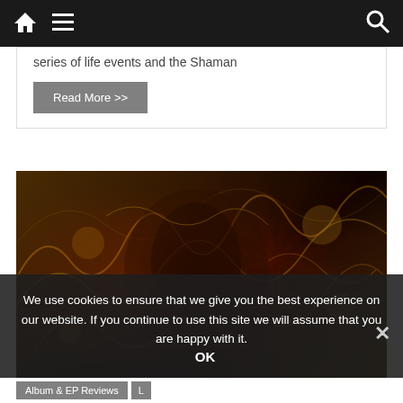Navigation bar with home, menu, and search icons
series of life events and the Shaman
Read More >>
[Figure (illustration): Complex golden and dark brown swirling artwork resembling a shaman or mystical figure surrounded by intricate organic patterns in amber, gold, and dark brown tones]
We use cookies to ensure that we give you the best experience on our website. If you continue to use this site we will assume that you are happy with it.
OK
Album & EP Reviews